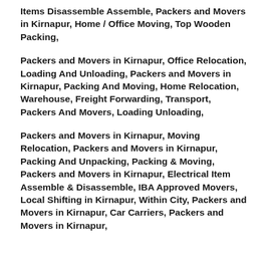Items Disassemble Assemble, Packers and Movers in Kirnapur, Home / Office Moving, Top Wooden Packing,
Packers and Movers in Kirnapur, Office Relocation, Loading And Unloading, Packers and Movers in Kirnapur, Packing And Moving, Home Relocation, Warehouse, Freight Forwarding, Transport, Packers And Movers, Loading Unloading,
Packers and Movers in Kirnapur, Moving Relocation, Packers and Movers in Kirnapur, Packing And Unpacking, Packing & Moving, Packers and Movers in Kirnapur, Electrical Item Assemble & Disassemble, IBA Approved Movers, Local Shifting in Kirnapur, Within City, Packers and Movers in Kirnapur, Car Carriers, Packers and Movers in Kirnapur,